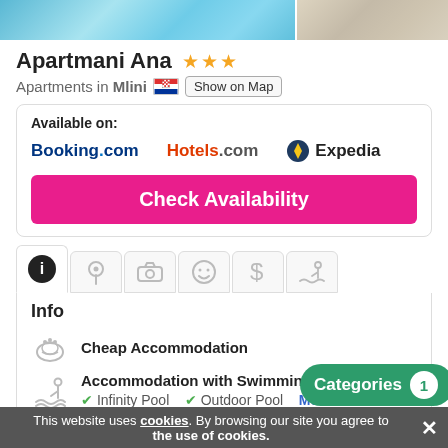[Figure (photo): Top banner image showing pool water (left, blue tones) and beach/sand (right, beige tones)]
Apartmani Ana ★★★
Apartments in Mlini [Croatia flag] Show on Map
Available on:
Booking.com    Hotels.com    Expedia
Check Availability
[Figure (screenshot): Tab navigation row with icons: info (active), location, camera, emoji, dollar, swimming pool]
Info
Cheap Accommodation
Accommodation with Swimming Pool
✔ Infinity Pool   ✔ Outdoor Pool   More details...
Accommodation with [WiFi icon] (partial, clipped)
Categories 1
This website uses cookies. By browsing our site you agree to the use of cookies.